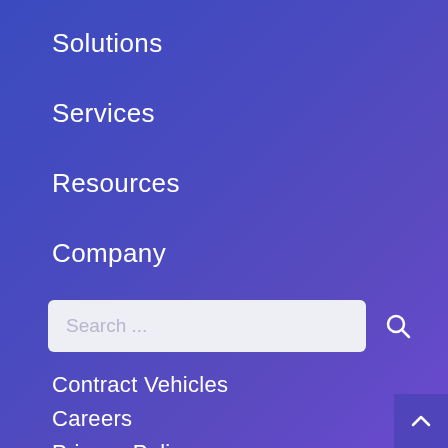Solutions
Services
Resources
Company
Search ...
Contract Vehicles
Careers
Privacy Policy
Terms of Use